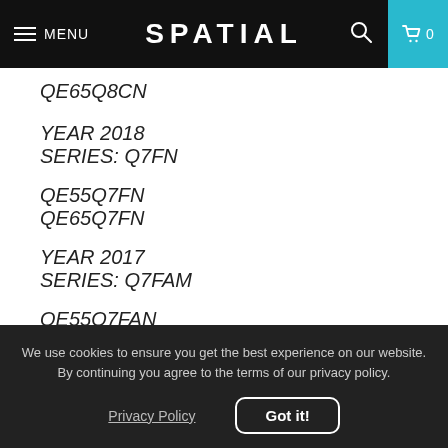SPATIAL
QE65Q8CN
YEAR 2018
SERIES: Q7FN
QE55Q7FN
QE65Q7FN
YEAR 2017
SERIES: Q7FAM
QE55Q7FAN
QE65Q7FAM
We use cookies to ensure you get the best experience on our website. By continuing you agree to the terms of our privacy policy.
Privacy Policy
Got it!